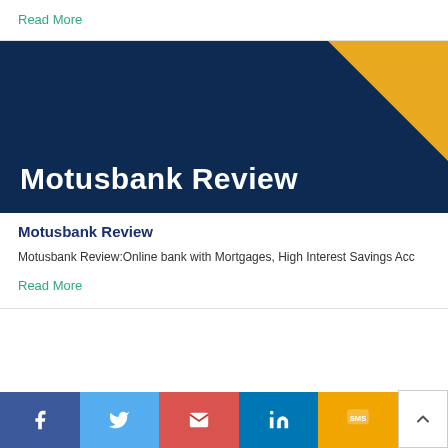Read More
[Figure (illustration): Motusbank Review banner with dark navy background, gold triangle in top-right corner, and bold white 'Motusbank Review' text at the bottom-left]
Motusbank Review
Motusbank Review:Online bank with Mortgages, High Interest Savings Acc
Read More